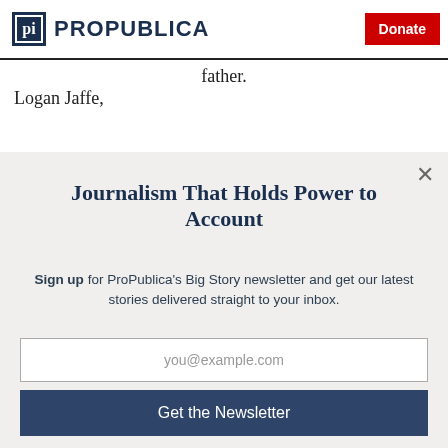ProPublica | Donate
father.
Logan Jaffe,
Journalism That Holds Power to Account
Sign up for ProPublica's Big Story newsletter and get our latest stories delivered straight to your inbox.
you@example.com
Get the Newsletter
No thanks, I'm all set
This site is protected by reCAPTCHA and the Google Privacy Policy and Terms of Service apply.